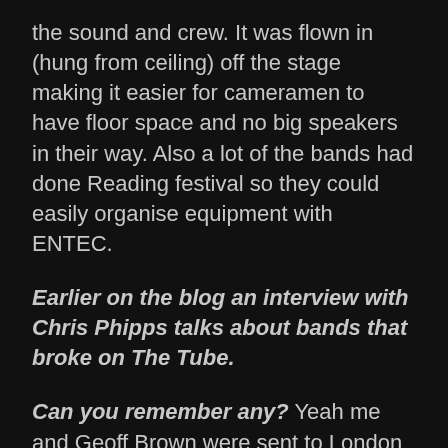the sound and crew. It was flown in (hung from ceiling) off the stage making it easier for cameramen to have floor space and no big speakers in their way. Also a lot of the bands had done Reading festival so they could easily organise equipment with ENTEC.
Earlier on the blog an interview with Chris Phipps talks about bands that broke on The Tube.
Can you remember any? Yeah me and Geoff Brown were sent to London to check out Grandmaster Flash. It was the first time The Tube were going to have on stage a set-up of a band playing all the scratchy stuff. We get to the venue and there was a support band on so we went to a Steak house but it was dreadful, we didn't eat it and